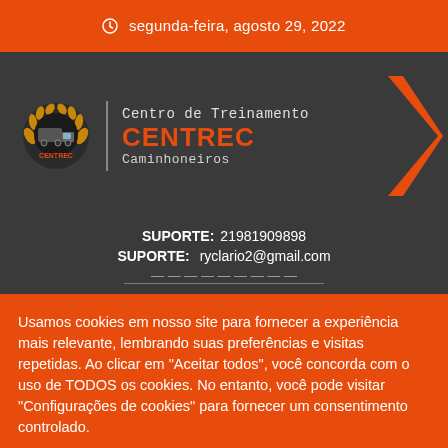segunda-feira, agosto 29, 2022
[Figure (logo): CENTREC Centro de Treinamento Caminhoneiros logo with dark background, orange truck emblem, and orange chevron]
SUPORTE: 21981909898
SUPORTE: ryclario2@gmail.com
Usamos cookies em nosso site para fornecer a experiência mais relevante, lembrando suas preferências e visitas repetidas. Ao clicar em "Aceitar todos", você concorda com o uso de TODOS os cookies. No entanto, você pode visitar "Configurações de cookies" para fornecer um consentimento controlado.
Configurações Cookie
Aceitar Tudo